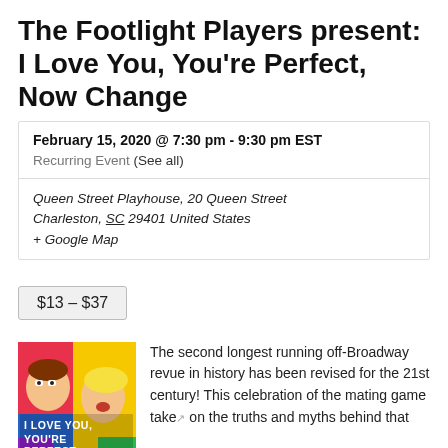The Footlight Players present: I Love You, You're Perfect, Now Change
February 15, 2020 @ 7:30 pm - 9:30 pm EST
Recurring Event (See all)
Queen Street Playhouse, 20 Queen Street Charleston, SC 29401 United States
+ Google Map
$13 – $37
[Figure (illustration): Colorful pop-art style poster for 'I Love You, You're Perfect, Now Change' showing a man and woman in comic style.]
The second longest running off-Broadway revue in history has been revised for the 21st century! This celebration of the mating game takes on the truths and myths behind that